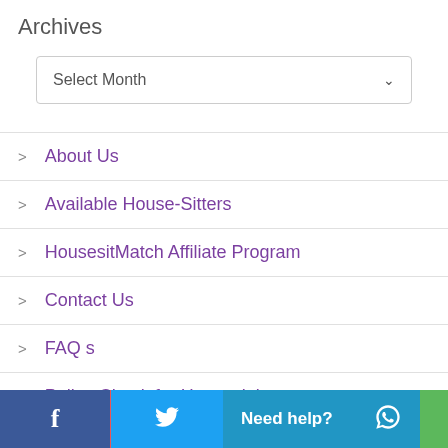Archives
Select Month
About Us
Available House-Sitters
HousesitMatch Affiliate Program
Contact Us
FAQ s
Police Check for Housesitting
Newsletter Signup
f  [Twitter]  Need help?  [Chat icon]